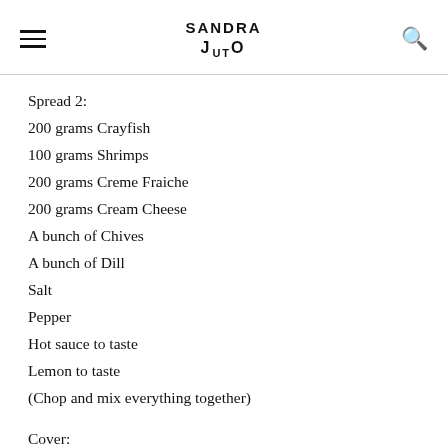SANDRA JUTO
Spread 2:
200 grams Crayfish
100 grams Shrimps
200 grams Creme Fraiche
200 grams Cream Cheese
A bunch of Chives
A bunch of Dill
Salt
Pepper
Hot sauce to taste
Lemon to taste
(Chop and mix everything together)
Cover:
500 grams whipped cream